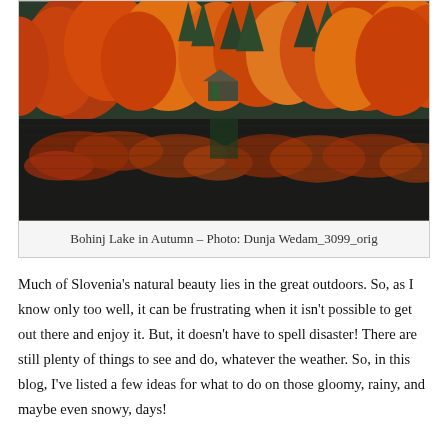[Figure (photo): Autumn landscape of Bohinj Lake in Slovenia, showing vibrant orange, red, and yellow trees reflected in calm lake water, with a small boathouse visible among the trees on the shore.]
Bohinj Lake in Autumn – Photo: Dunja Wedam_3099_orig
Much of Slovenia's natural beauty lies in the great outdoors. So, as I know only too well, it can be frustrating when it isn't possible to get out there and enjoy it. But, it doesn't have to spell disaster! There are still plenty of things to see and do, whatever the weather. So, in this blog, I've listed a few ideas for what to do on those gloomy, rainy, and maybe even snowy, days!